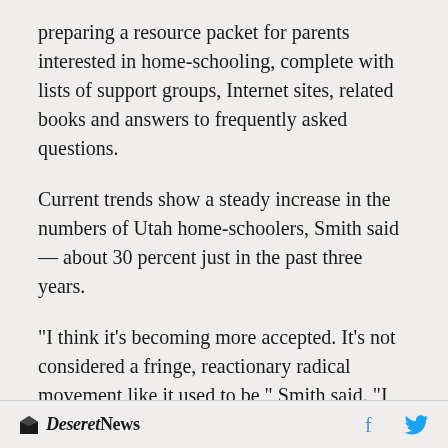preparing a resource packet for parents interested in home-schooling, complete with lists of support groups, Internet sites, related books and answers to frequently asked questions.
Current trends show a steady increase in the numbers of Utah home-schoolers, Smith said — about 30 percent just in the past three years.
"I think it's becoming more accepted. It's not considered a fringe, reactionary radical movement like it used to be," Smith said. "I think that people are also seeing the success of other people."
Deseret News